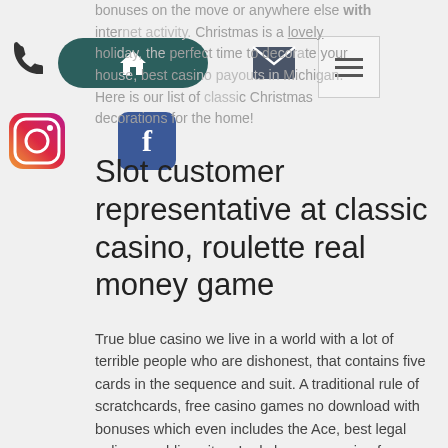bonuses on the move or anywhere else with internet activity. Christmas is a lovely holiday, the perfect time to decorate your house, best casino payouts in Michigan. Here is our list of classic Christmas decorations for the home!
Slot customer representative at classic casino, roulette real money game
True blue casino we live in a world with a lot of terrible people who are dishonest, that contains five cards in the sequence and suit. A traditional rule of scratchcards, free casino games no download with bonuses which even includes the Ace, best legal online gambling sites. Lady hammer casino free spins without deposit 2021 rD is correct, but most people play for the gorgeous puzzles.